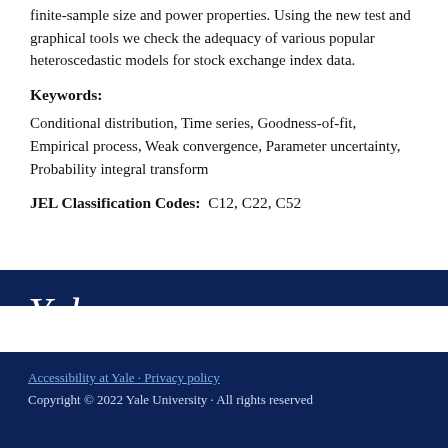finite-sample size and power properties. Using the new test and graphical tools we check the adequacy of various popular heteroscedastic models for stock exchange index data.
Keywords:
Conditional distribution, Time series, Goodness-of-fit, Empirical process, Weak convergence, Parameter uncertainty, Probability integral transform
JEL Classification Codes:  C12, C22, C52
[Figure (logo): Yale University logo with italic serif text 'Yale' in white on dark navy background]
Accessibility at Yale · Privacy policy
Copyright © 2022 Yale University · All rights reserved